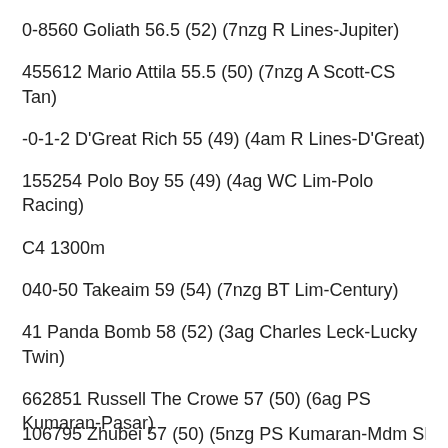0-8560 Goliath 56.5 (52) (7nzg R Lines-Jupiter)
455612 Mario Attila 55.5 (50) (7nzg A Scott-CS Tan)
-0-1-2 D'Great Rich 55 (49) (4am R Lines-D'Great)
155254 Polo Boy 55 (49) (4ag WC Lim-Polo Racing)
C4 1300m
040-50 Takeaim 59 (54) (7nzg BT Lim-Century)
41 Panda Bomb 58 (52) (3ag Charles Leck-Lucky Twin)
662851 Russell The Crowe 57 (50) (6ag PS Kumaran-Pasar)
106795 Zhubei 57 (50) (5nzg PS Kumaran-Mdm SL...